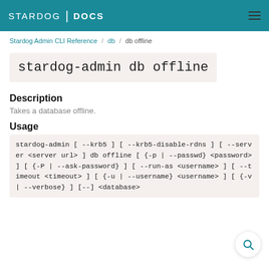STARDOG | DOCS
Stardog Admin CLI Reference / db / db offline
stardog-admin db offline
Description
Takes a database offline.
Usage
stardog-admin [ --krb5 ] [ --krb5-disable-rdns ] [ --server <server url> ] db offline [ {-p | --passwd} <password> ] [ {-P | --ask-password} ] [ --run-as <username> ] [ --timeout <timeout> ] [ {-u | --username} <username> ] [ {-v | --verbose} ] [--] <database>